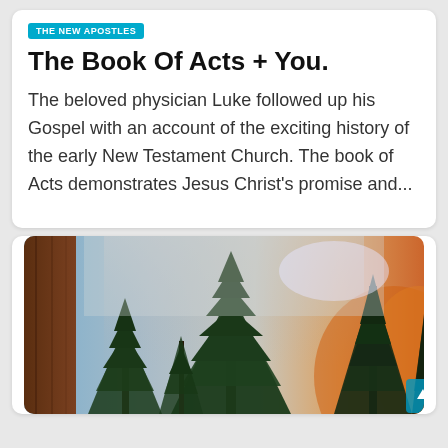THE NEW APOSTLES
The Book Of Acts + You.
The beloved physician Luke followed up his Gospel with an account of the exciting history of the early New Testament Church. The book of Acts demonstrates Jesus Christ's promise and...
[Figure (photo): Forest scene with tall conifer trees against a smoky sky with blue and orange hues, suggesting a wildfire or dramatic sunset atmosphere]